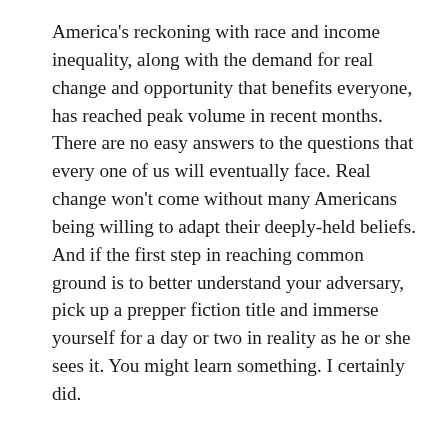America's reckoning with race and income inequality, along with the demand for real change and opportunity that benefits everyone, has reached peak volume in recent months. There are no easy answers to the questions that every one of us will eventually face. Real change won't come without many Americans being willing to adapt their deeply-held beliefs. And if the first step in reaching common ground is to better understand your adversary, pick up a prepper fiction title and immerse yourself for a day or two in reality as he or she sees it. You might learn something. I certainly did.